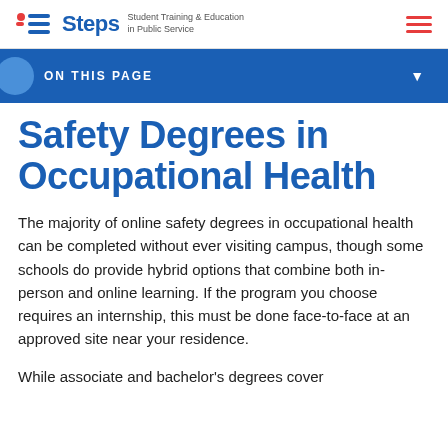Steps — Student Training & Education in Public Service
ON THIS PAGE
Safety Degrees in Occupational Health
The majority of online safety degrees in occupational health can be completed without ever visiting campus, though some schools do provide hybrid options that combine both in-person and online learning. If the program you choose requires an internship, this must be done face-to-face at an approved site near your residence.
While associate and bachelor's degrees cover foundational topics, advanced programs often...